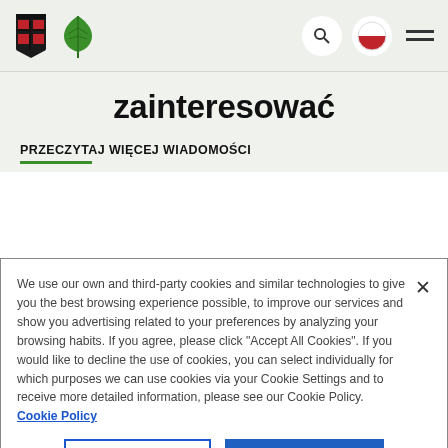Website header with logo (bookmark icon + cannabis leaf icon) and navigation icons (search, Polish flag, hamburger menu)
zainteresować
PRZECZYTAJ WIĘCEJ WIADOMOŚCI
We use our own and third-party cookies and similar technologies to give you the best browsing experience possible, to improve our services and show you advertising related to your preferences by analyzing your browsing habits. If you agree, please click "Accept All Cookies". If you would like to decline the use of cookies, you can select individually for which purposes we can use cookies via your Cookie Settings and to receive more detailed information, please see our Cookie Policy. Cookie Policy